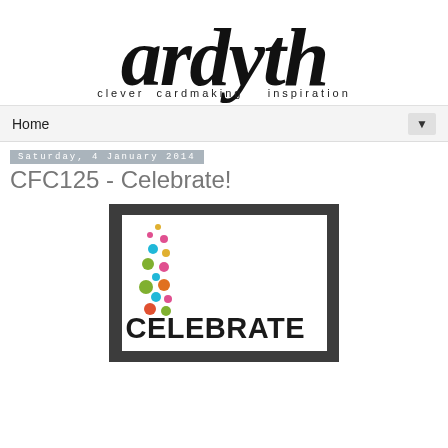[Figure (logo): Ardyth blog logo with script font text 'ardyth' and subtitle 'clever cardmaking inspiration']
Home ▼
Saturday, 4 January 2014
CFC125 - Celebrate!
[Figure (photo): Photo of a handmade greeting card with 'CELEBRATE' text and colorful circles/dots arranged vertically on white card with dark grey border]